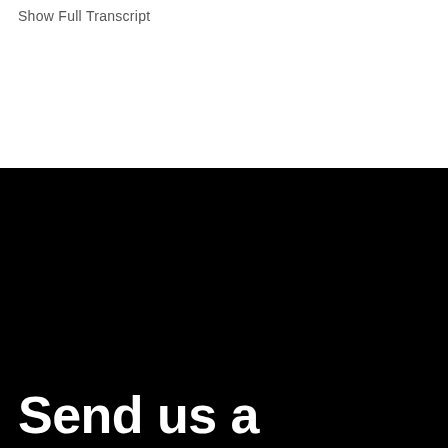Show Full Transcript
Send us a message
If you have questions, ideas, or funny jokes for Cl...